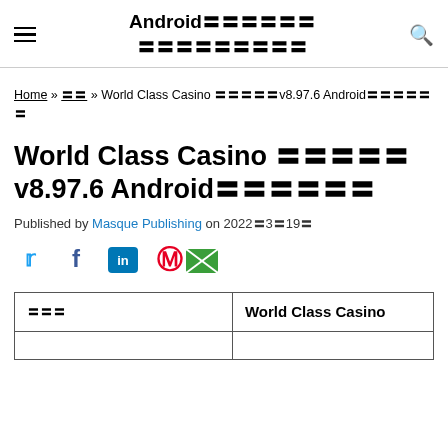Android〓〓〓〓〓〓 〓〓〓〓〓〓〓〓〓
Home » 〓〓 » World Class Casino 〓〓〓〓〓v8.97.6 Android〓〓〓〓〓〓
World Class Casino 〓〓〓〓〓 v8.97.6 Android〓〓〓〓〓〓
Published by Masque Publishing on 2022〓3〓19〓
[Figure (infographic): Social share icons: Twitter (blue bird), Facebook (blue f), LinkedIn (blue in), Pinterest (red P), Email (green envelope)]
| 〓〓〓 | World Class Casino |
| --- | --- |
|  |  |